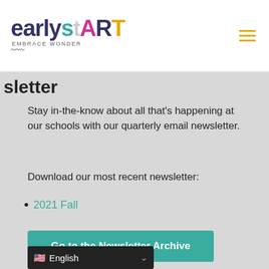earlystART EMBRACE WONDER
sletter
Stay in-the-know about all that's happening at our schools with our quarterly email newsletter.
Download our most recent newsletter:
2021 Fall
Go to the Newsletter Archive
English